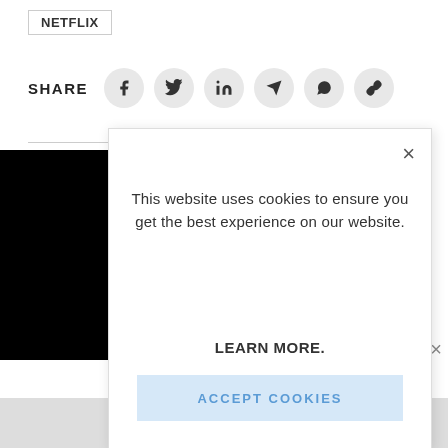NETFLIX
SHARE
[Figure (screenshot): Cookie consent modal dialog on a website. Contains close button (×), text 'This website uses cookies to ensure you get the best experience on our website.', bold link 'LEARN MORE.', and a light blue button 'ACCEPT COOKIES'. Background shows Netflix-related page with share icons (Facebook, Twitter, LinkedIn, Telegram, WhatsApp, link).]